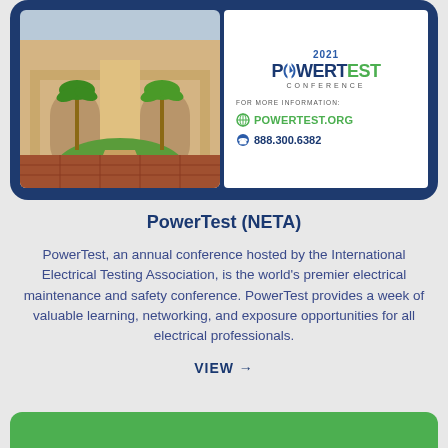[Figure (photo): 2021 PowerTest Conference promotional banner showing a hotel/resort building photo on the left with palm trees, and on the right a white box with the PowerTest logo, 'FOR MORE INFORMATION:', 'POWERTEST.ORG', and '888.300.6382']
PowerTest (NETA)
PowerTest, an annual conference hosted by the International Electrical Testing Association, is the world's premier electrical maintenance and safety conference. PowerTest provides a week of valuable learning, networking, and exposure opportunities for all electrical professionals.
VIEW →